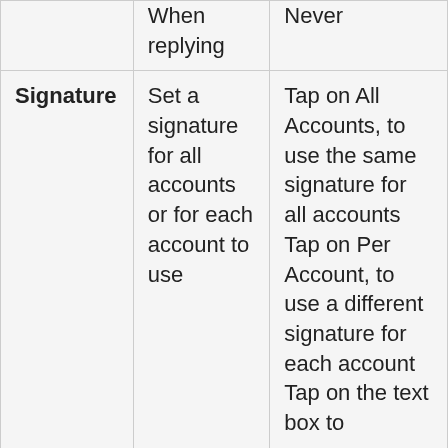|  | When replying | Never |
| Signature | Set a signature for all accounts or for each account to use | Tap on All Accounts, to use the same signature for all accounts Tap on Per Account, to use a different signature for each account Tap on the text box to |